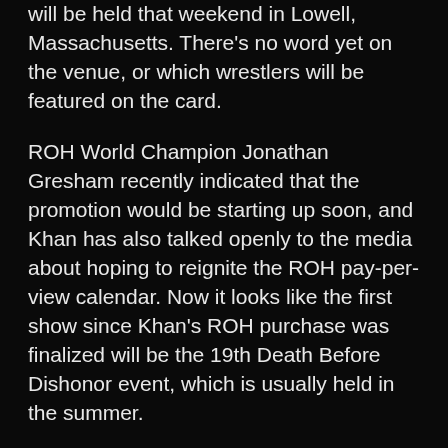will be held that weekend in Lowell, Massachusetts. There's no word yet on the venue, or which wrestlers will be featured on the card.
ROH World Champion Jonathan Gresham recently indicated that the promotion would be starting up soon, and Khan has also talked openly to the media about hoping to reignite the ROH pay-per-view calendar. Now it looks like the first show since Khan's ROH purchase was finalized will be the 19th Death Before Dishonor event, which is usually held in the summer.
This new report states that NJPW has quietly changed the date of their High Alert event from Sunday, July 24 to Sunday, July 17, at the Grady Cole Center in Charlotte, NC. It was speculated that this could be connected to the ROH pay-per-view. It should be noted that the NJPW website and the Eventbrite website still lists the show for July 24, and